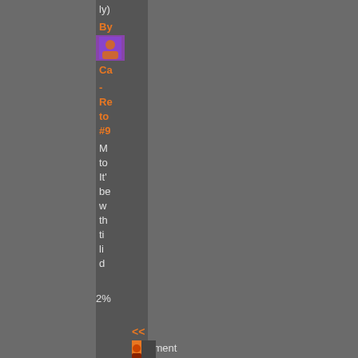ly)
By
[Figure (photo): Small avatar/thumbnail image]
Ca
- Re to #9
M to It' be w th ti li d
2%
<< Comment #115 @ 03:21 CDT, 30 July 2019
>>
[Figure (photo): Small avatar/thumbnail image at bottom]